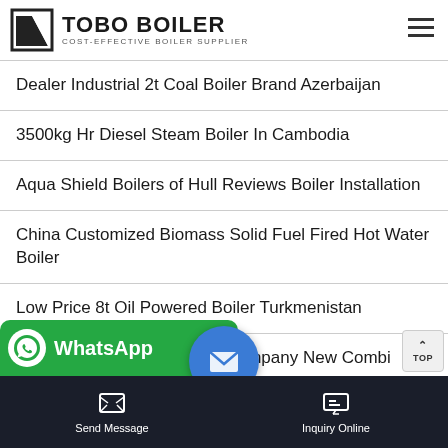[Figure (logo): TOBO BOILER logo with triangular icon and tagline COST-EFFECTIVE BOILER SUPPLIER]
Dealer Industrial 2t Coal Boiler Brand Azerbaijan
3500kg Hr Diesel Steam Boiler In Cambodia
Aqua Shield Boilers of Hull Reviews Boiler Installation
China Customized Biomass Solid Fuel Fired Hot Water Boiler
Low Price 8t Oil Powered Boiler Turkmenistan
Contact The Dundee Boiler Company New Combi Boiler
[Figure (screenshot): WhatsApp button bar at bottom with green WhatsApp icon, blue email circle, Send Message and Inquiry Online buttons on dark bar]